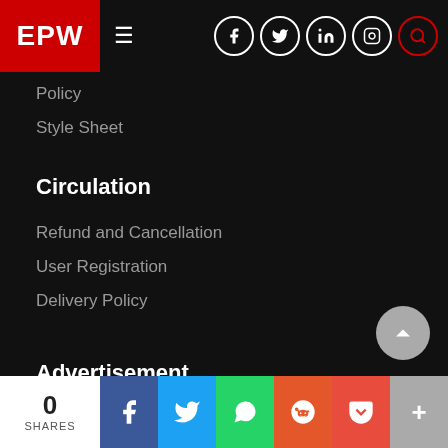EPW navigation bar with logo, hamburger menu, and social icons (Facebook, Twitter, LinkedIn, Instagram, Search)
Policy
Style Sheet
Circulation
Refund and Cancellation
User Registration
Delivery Policy
Advertisement
Why Advertise in EPW?
Advertisement Tariffs
0 SHARES | Facebook | Twitter | WhatsApp | Reddit | Pocket | More